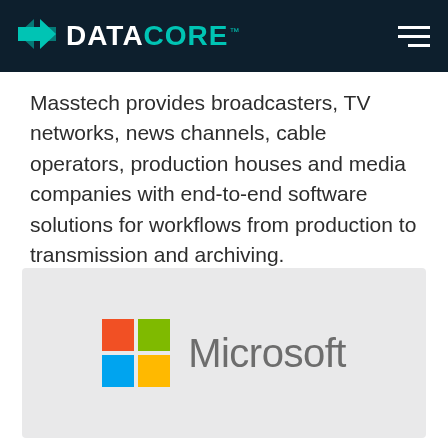DATACORE
Masstech provides broadcasters, TV networks, news channels, cable operators, production houses and media companies with end-to-end software solutions for workflows from production to transmission and archiving.
[Figure (logo): Microsoft logo: four colored squares (red, green, blue, yellow) arranged in a 2x2 grid followed by the word 'Microsoft' in gray]